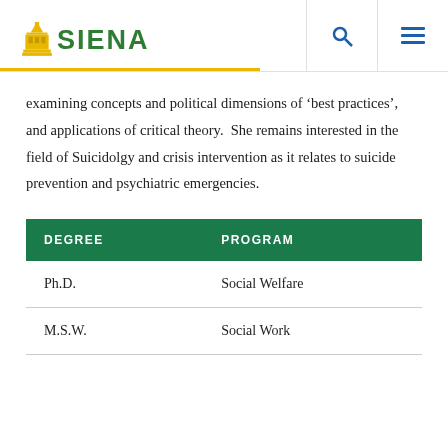SIENA
examining concepts and political dimensions of ‘best practices’, and applications of critical theory.  She remains interested in the field of Suicidolgy and crisis intervention as it relates to suicide prevention and psychiatric emergencies.
| DEGREE | PROGRAM |
| --- | --- |
| Ph.D. | Social Welfare |
| M.S.W. | Social Work |